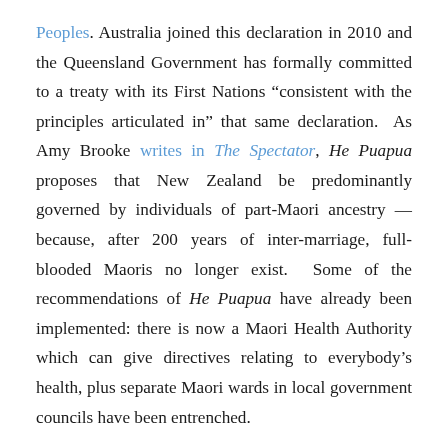Peoples. Australia joined this declaration in 2010 and the Queensland Government has formally committed to a treaty with its First Nations “consistent with the principles articulated in” that same declaration. As Amy Brooke writes in The Spectator, He Puapua proposes that New Zealand be predominantly governed by individuals of part-Maori ancestry — because, after 200 years of inter-marriage, full-blooded Maoris no longer exist. Some of the recommendations of He Puapua have already been implemented: there is now a Maori Health Authority which can give directives relating to everybody’s health, plus separate Maori wards in local government councils have been entrenched.
Not only the courts but the bureaucracy and business